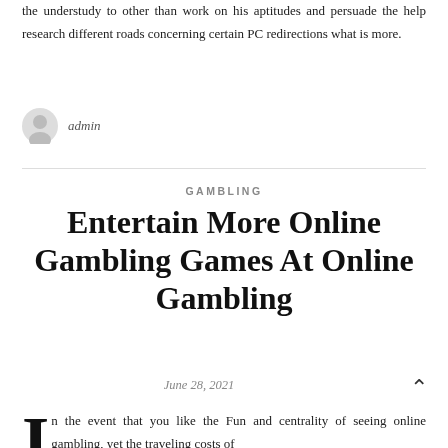the understudy to other than work on his aptitudes and persuade the help research different roads concerning certain PC redirections what is more.
admin
GAMBLING
Entertain More Online Gambling Games At Online Gambling
June 28, 2021
In the event that you like the Fun and centrality of seeing online gambling, yet the traveling costs of